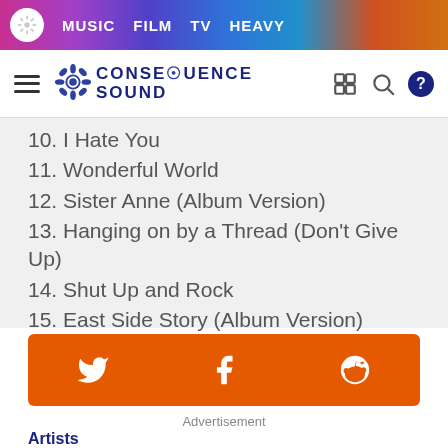MUSIC  FILM  TV  HEAVY
[Figure (logo): Consequence Sound website logo with gear/flower icon and site name]
10. I Hate You
11. Wonderful World
12. Sister Anne (Album Version)
13. Hanging on by a Thread (Don't Give Up)
14. Shut Up and Rock
15. East Side Story (Album Version)
[Figure (infographic): Orange social sharing bar with Twitter, Facebook, and Reddit icons]
Advertisement
Artists
Alice Cooper